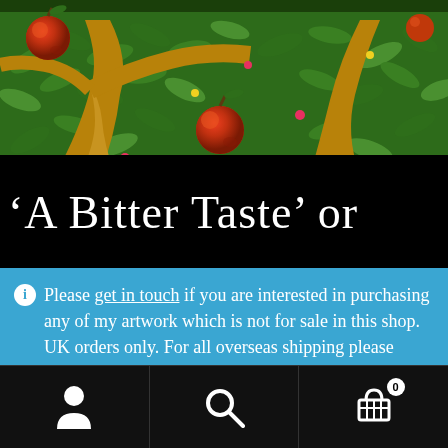[Figure (illustration): A painting showing an apple tree with red apples among green leaves and golden-brown branches on a dark background.]
'A Bitter Taste' or
Please get in touch if you are interested in purchasing any of my artwork which is not for sale in this shop. UK orders only. For all overseas shipping please contact me before purchase.
Dismiss